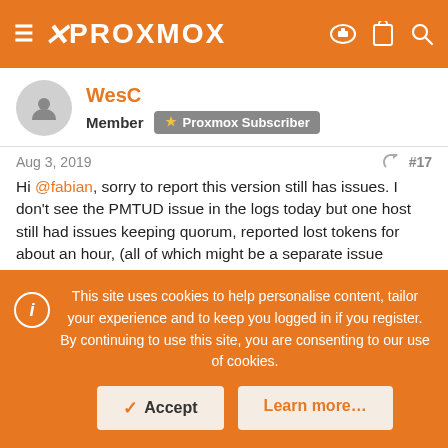PROXMOX
WesC
Member  Proxmox Subscriber
Aug 3, 2019  #17
Hi @fabian, sorry to report this version still has issues. I don't see the PMTUD issue in the logs today but one host still had issues keeping quorum, reported lost tokens for about an hour, (all of which might be a separate issue elsewhere) but then its kernel reported a crash in libknet.so:
This site uses cookies to help personalise content, tailor your experience and to keep you logged in if you register.
By continuing to use this site, you are consenting to our use of cookies.